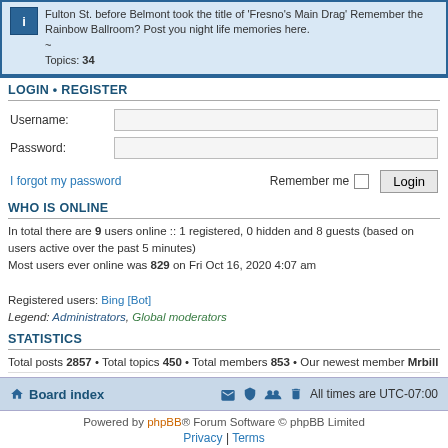Fulton St. before Belmont took the title of 'Fresno's Main Drag' Remember the Rainbow Ballroom? Post you night life memories here.
~
Topics: 34
LOGIN • REGISTER
Username:
Password:
I forgot my password    Remember me  Login
WHO IS ONLINE
In total there are 9 users online :: 1 registered, 0 hidden and 8 guests (based on users active over the past 5 minutes)
Most users ever online was 829 on Fri Oct 16, 2020 4:07 am

Registered users: Bing [Bot]
Legend: Administrators, Global moderators
STATISTICS
Total posts 2857 • Total topics 450 • Total members 853 • Our newest member Mrbill
Board index    All times are UTC-07:00
Powered by phpBB® Forum Software © phpBB Limited
Privacy | Terms